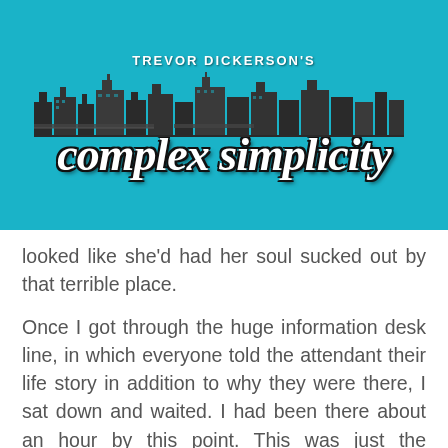[Figure (logo): Trevor Dickerson's Complex Simplicity blog logo — white bold uppercase text 'TREVOR DICKERSON'S' above a city skyline silhouette illustration on a teal/cyan background, with large italic cursive white text 'complex simplicity' outlined in black below the skyline.]
looked like she'd had her soul sucked out by that terrible place.

Once I got through the huge information desk line, in which everyone told the attendant their life story in addition to why they were there, I sat down and waited. I had been there about an hour by this point. This was just the beginning, though. I sat in a chair for an hour, waiting as patiently as possible, listening to the most annoying PA